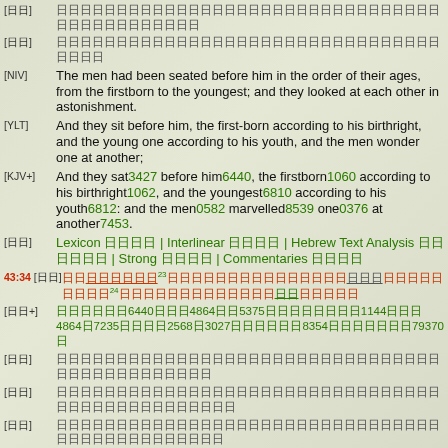[HE] Hebrew text line 1
[HE] Hebrew text line 2
[NIV] The men had been seated before him in the order of their ages, from the firstborn to the youngest; and they looked at each other in astonishment.
[YLT] And they sit before him, the first-born according to his birthright, and the young one according to his youth, and the men wonder one at another;
[KJV+] And they sat3427 before him6440, the firstborn1060 according to his birthright1062, and the youngest6810 according to his youth6812: and the men0582 marvelled8539 one0376 at another7453.
[HE] Lexicon | Interlinear | Hebrew Text Analysis | Strong | Commentaries
43:34 [HE] Hebrew verse text
[HE+] Hebrew with strongs numbers
[HE] Hebrew text line
[HE] Hebrew text line
[HE] Hebrew text line
[NIV] When portions were served to them from Joseph's table, Benjamin's portion was five times as much as anyone else's. So they feasted and drank freely with